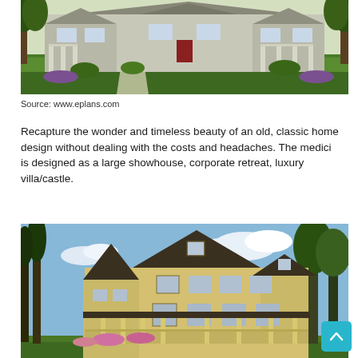[Figure (photo): Exterior rendering of a large classic home with wraparound porch, red door, multiple dormer windows, and lush green lawn]
Source: www.eplans.com
Recapture the wonder and timeless beauty of an old, classic home design without dealing with the costs and headaches. The medici is designed as a large showhouse, corporate retreat, luxury villa/castle.
[Figure (photo): Exterior rendering of a Victorian-style two-story yellow house with turret, wrap-around porch, steep dark roof, and surrounding trees]